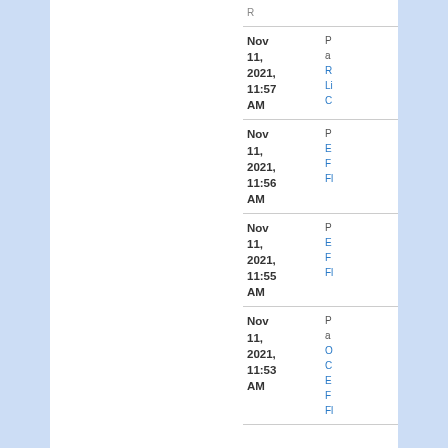| Date | Info |
| --- | --- |
| Nov 11, 2021, 11:57 AM | P
a
R
Li
C |
| Nov 11, 2021, 11:56 AM | P
E
F
Fl |
| Nov 11, 2021, 11:55 AM | P
E
F
Fl |
| Nov 11, 2021, 11:53 AM | P
a
O
C
E
F
Fl |